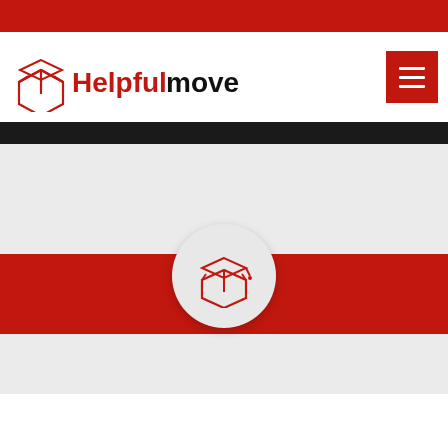[Figure (logo): HelpfulMove.co.uk logo with red open box icon on the left and stylized text]
[Figure (illustration): Hamburger menu button (three horizontal white lines on red background)]
[Figure (logo): Open box icon in red outline style centered on a light gray circle, overlapping a red horizontal band]